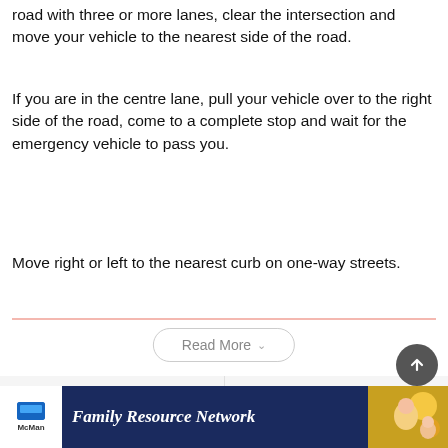road with three or more lanes, clear the intersection and move your vehicle to the nearest side of the road.
If you are in the centre lane, pull your vehicle over to the right side of the road, come to a complete stop and wait for the emergency vehicle to pass you.
Move right or left to the nearest curb on one-way streets.
[Figure (screenshot): Read More dropdown button with chevron]
[Figure (screenshot): Previous story / Next story navigation bar]
[Figure (screenshot): Scroll to top circular button]
[Figure (screenshot): McMan Family Resource Network advertisement banner]